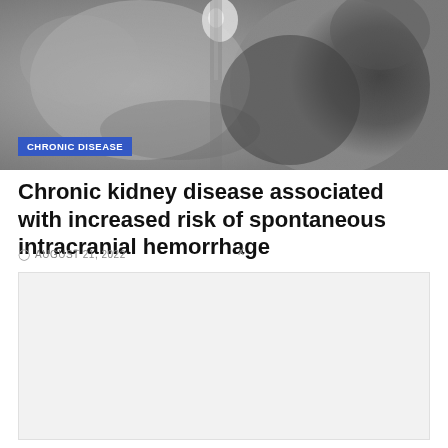[Figure (photo): Grayscale medical brain scan image (likely CT or MRI) showing brain tissue with areas of hemorrhage. A blue category badge 'CHRONIC DISEASE' overlays the bottom-left of the image.]
Chronic kidney disease associated with increased risk of spontaneous intracranial hemorrhage
AUGUST 21, 2022
[Figure (other): Advertisement or placeholder box with light gray background]